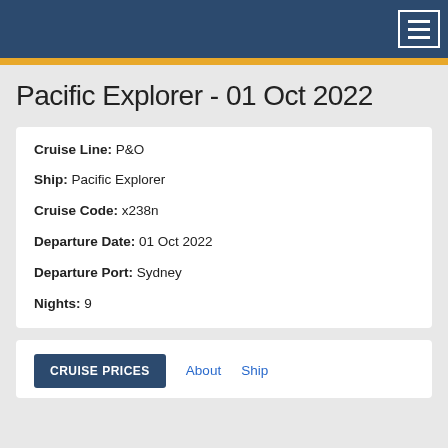Navigation bar with hamburger menu
Pacific Explorer - 01 Oct 2022
| Cruise Line: | P&O |
| Ship: | Pacific Explorer |
| Cruise Code: | x238n |
| Departure Date: | 01 Oct 2022 |
| Departure Port: | Sydney |
| Nights: | 9 |
CRUISE PRICES  About  Ship